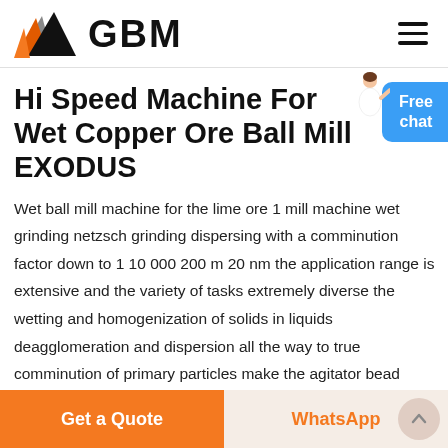[Figure (logo): GBM logo with orange, grey and black triangular mountain shape and bold GBM text]
Hi Speed Machine For Wet Copper Ore Ball Mill EXODUS
Wet ball mill machine for the lime ore 1 mill machine wet grinding netzsch grinding dispersing with a comminution factor down to 1 10 000 200 m 20 nm the application range is extensive and the variety of tasks extremely diverse the wetting and homogenization of solids in liquids deagglomeration and dispersion all the way to true comminution of primary particles make the agitator bead